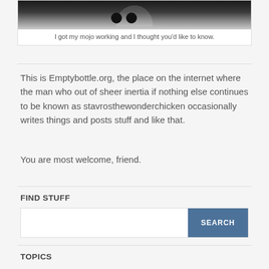[Figure (photo): High contrast black and white photo of an animal (possibly a dog or similar) from above, inside a white bordered box]
I got my mojo working and I thought you'd like to know.
This is Emptybottle.org, the place on the internet where the man who out of sheer inertia if nothing else continues to be known as stavrosthewonderchicken occasionally writes things and posts stuff and like that.
You are most welcome, friend.
FIND STUFF
SEARCH
TOPICS